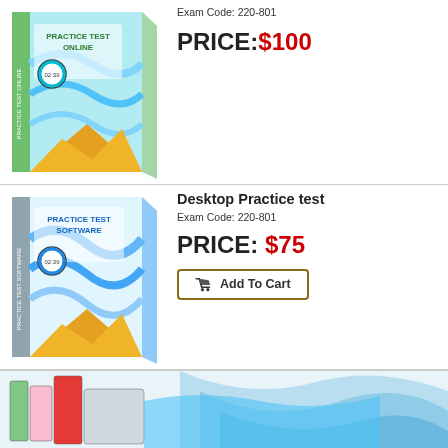[Figure (illustration): Practice Test Online software box with green/teal waves and orange mountain design]
Exam Code: 220-801
PRICE:$100
[Figure (illustration): Practice Test Software box with blue waves and orange mountain design]
Desktop Practice test
Exam Code: 220-801
PRICE: $75
Add To Cart
[Figure (illustration): Bundle package image showing multiple software boxes with red, pink, green panel and blue wave background]